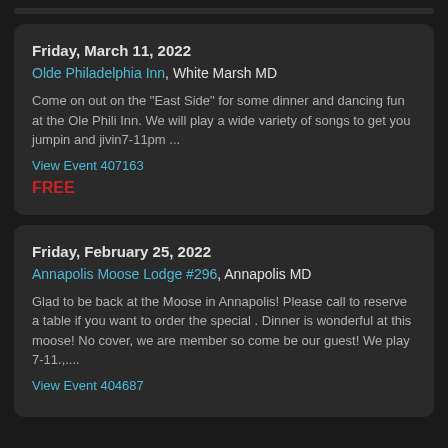Friday, March 11, 2022
Olde Philadelphia Inn, White Marsh MD
Come on out on the "East Side" for some dinner and dancing fun at the Ole Phili Inn. We will play a wide variety of songs to get you jumpin and jivin7-11pm ...
View Event 407163
FREE
Friday, February 25, 2022
Annapolis Moose Lodge #296, Annapolis MD
Glad to be back at the Moose in Annapolis! Please call to reserve a table if you want to order the special . Dinner is wonderful at this moose! No cover, we are member so come be our guest! We play 7-11.,...
View Event 404687